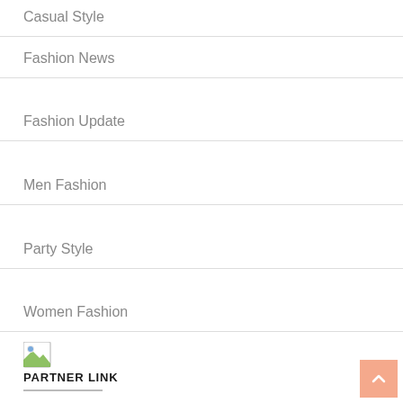Casual Style
Fashion News
Fashion Update
Men Fashion
Party Style
Women Fashion
[Figure (illustration): Broken image placeholder icon]
PARTNER LINK
PARTNER LINKS